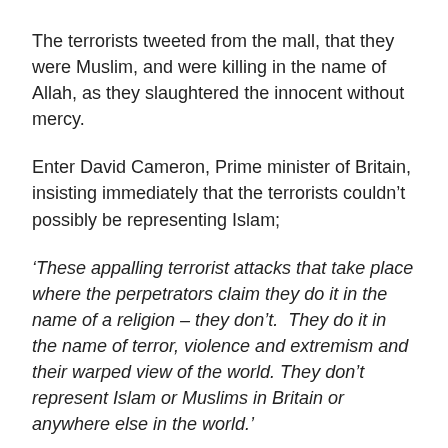The terrorists tweeted from the mall, that they were Muslim, and were killing in the name of Allah, as they slaughtered the innocent without mercy.
Enter David Cameron, Prime minister of Britain, insisting immediately that the terrorists couldn’t possibly be representing Islam;
‘These appalling terrorist attacks that take place where the perpetrators claim they do it in the name of a religion – they don’t. They do it in the name of terror, violence and extremism and their warped view of the world. They don’t represent Islam or Muslims in Britain or anywhere else in the world.’
He’s not the only one.